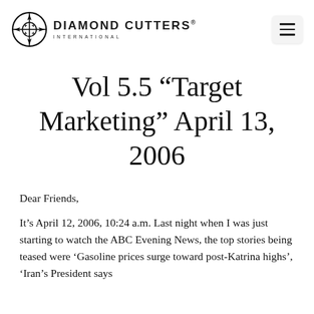[Figure (logo): Diamond Cutters International logo with compass-rose icon and text 'DIAMOND CUTTERS INTERNATIONAL']
Vol 5.5 “Target Marketing” April 13, 2006
Dear Friends,
It’s April 12, 2006, 10:24 a.m. Last night when I was just starting to watch the ABC Evening News, the top stories being teased were ‘Gasoline prices surge toward post-Katrina highs’, ‘Iran’s President says